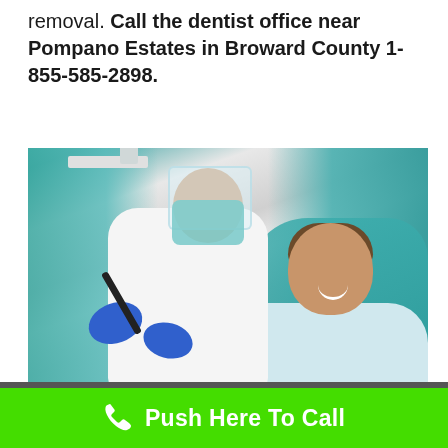removal. Call the dentist office near Pompano Estates in Broward County 1-855-585-2898.
[Figure (photo): A dentist wearing a face shield, mask and blue gloves examines a smiling young boy seated in a dental chair. The clinic has teal/green accent walls. An 'EMERGENCY DENTIST Near Me.org' red overlay logo appears at the bottom left of the image.]
Push Here To Call